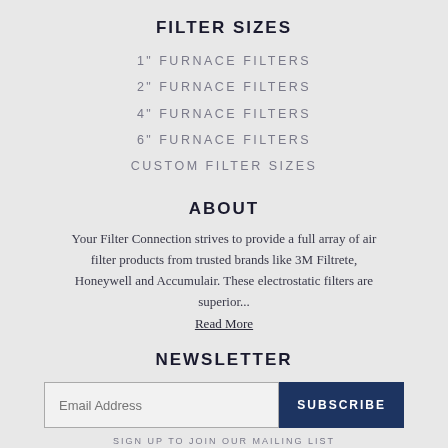FILTER SIZES
1" FURNACE FILTERS
2" FURNACE FILTERS
4" FURNACE FILTERS
6" FURNACE FILTERS
CUSTOM FILTER SIZES
ABOUT
Your Filter Connection strives to provide a full array of air filter products from trusted brands like 3M Filtrete, Honeywell and Accumulair. These electrostatic filters are superior...
Read More
NEWSLETTER
SIGN UP TO JOIN OUR MAILING LIST